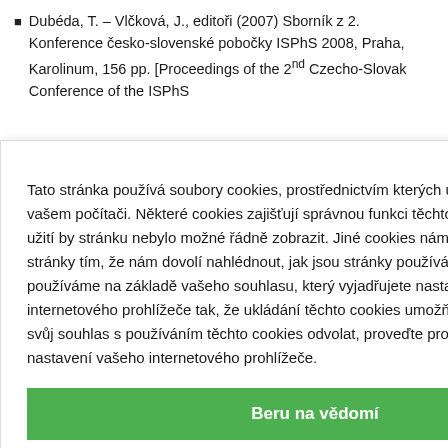Dubéda, T. – Vlčková, J., editoři (2007) Sborník z 2. Konference česko-slovenské pobočky ISPhS 2008, Praha, Karolinum, 156 pp. [Proceedings of the 2nd Czecho-Slovak Conference of the ISPhS … on tchéco-slovaque de … ch akcentů ve čtené slovenské pobočky raha, Karolinum, pp. 75– ad Czech; A propos de heque lu] … on of prosody: Discrete Speech Prosody 2008, a, C. Reis, pp. 727–730 oundary tones and nation, in: Sojka, P. – ; Speech and Dialogue … technical and Phonetic he Case of Prosody ross-Modal Analysis of isions, Berlin,
Tato stránka používá soubory cookies, prostřednictvím kterých uchovává informace ve vašem počítači. Některé cookies zajišťují správnou funkci těchto stránek a bez jejich užití by stránku nebylo možné řádně zobrazit. Jiné cookies nám pomáhají vylepšovat stránky tím, že nám dovolí nahlédnout, jak jsou stránky používány. Cookies používáme na základě vašeho souhlasu, který vyjadřujete nastavením svého internetového prohlížeče tak, že ukládání těchto cookies umožňuje. Pokud si přejete svůj souhlas s používáním těchto cookies odvolat, proveďte prosím příslušné nastavení vašeho internetového prohlížeče.
Beru na vědomí
Heidelberg: Springer, pp. 126–132